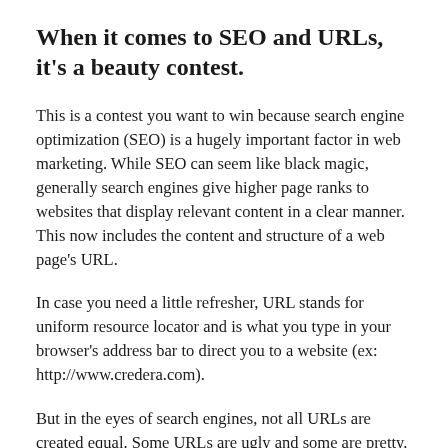When it comes to SEO and URLs, it's a beauty contest.
This is a contest you want to win because search engine optimization (SEO) is a hugely important factor in web marketing. While SEO can seem like black magic, generally search engines give higher page ranks to websites that display relevant content in a clear manner. This now includes the content and structure of a web page's URL.
In case you need a little refresher, URL stands for uniform resource locator and is what you type in your browser's address bar to direct you to a website (ex: http://www.credera.com).
But in the eyes of search engines, not all URLs are created equal. Some URLs are ugly and some are pretty.